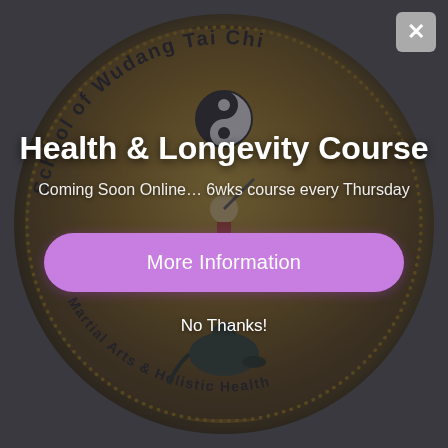[Figure (logo): Circular emblem/seal of the School of Wudang Tai Chi, featuring a yin-yang symbol, a martial arts figure with a staff, and a black tortoise with snake at the bottom. Text around the border reads 'School of Wudang Tai Chi' and 'Martial Arts & Holistic Health'. Background is dark gray overlay.]
Health & Longevity Course
Coming Soon Online… 6wks course every Thursday
More Information
No Thanks!